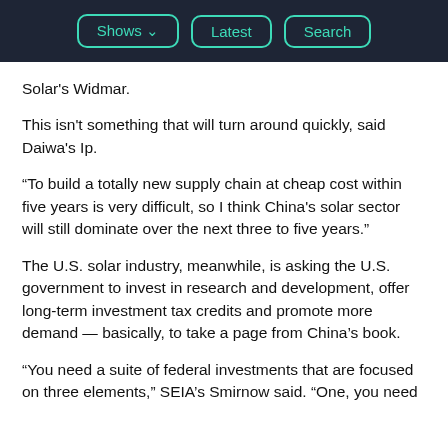Shows  Latest  Search
Solar's Widmar.
This isn't something that will turn around quickly, said Daiwa's Ip.
“To build a totally new supply chain at cheap cost within five years is very difficult, so I think China's solar sector will still dominate over the next three to five years.”
The U.S. solar industry, meanwhile, is asking the U.S. government to invest in research and development, offer long-term investment tax credits and promote more demand — basically, to take a page from China’s book.
“You need a suite of federal investments that are focused on three elements,” SEIA’s Smirnow said. “One, you need